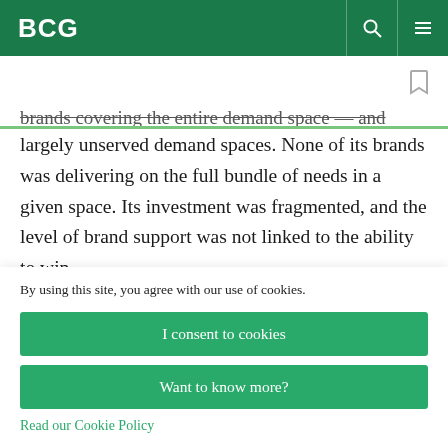BCG
brands covering the entire demand space — and largely unserved demand spaces. None of its brands was delivering on the full bundle of needs in a given space. Its investment was fragmented, and the level of brand support was not linked to the ability to win.
By using this site, you agree with our use of cookies.
I consent to cookies
Want to know more?
Read our Cookie Policy